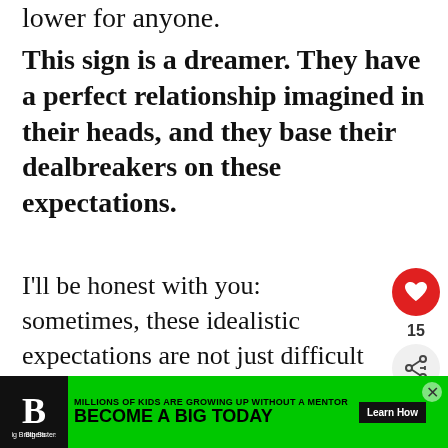lower for anyone.
This sign is a dreamer. They have a perfect relationship imagined in their heads, and they base their dealbreakers on these expectations.
I'll be honest with you: sometimes, these idealistic expectations are not just difficult to meet – they're actually impossible to fulfill. But this really won't make Aquarius give up their st... g b...t
[Figure (infographic): Red heart like button with count 15 and share icon]
[Figure (infographic): What's Next panel: Key Pisces Traits:...]
[Figure (infographic): Big Brothers Big Sisters advertisement banner: MILLIONS OF KIDS ARE GROWING UP WITHOUT A MENTOR. BECOME A BIG TODAY. Learn How.]